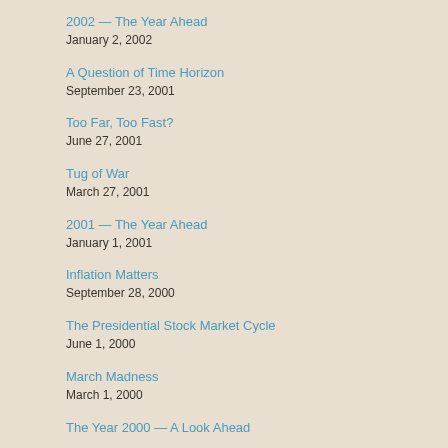2002 — The Year Ahead
January 2, 2002
A Question of Time Horizon
September 23, 2001
Too Far, Too Fast?
June 27, 2001
Tug of War
March 27, 2001
2001 — The Year Ahead
January 1, 2001
Inflation Matters
September 28, 2000
The Presidential Stock Market Cycle
June 1, 2000
March Madness
March 1, 2000
The Year 2000 — A Look Ahead